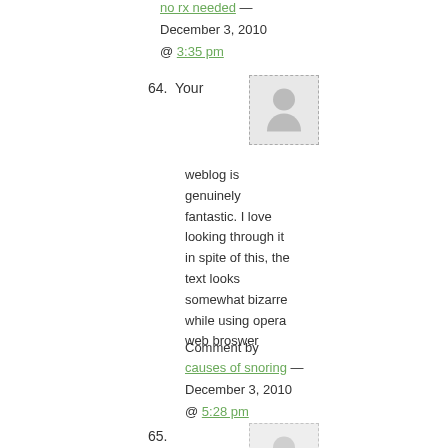no rx needed — December 3, 2010 @ 3:35 pm
64. Your weblog is genuinely fantastic. I love looking through it in spite of this, the text looks somewhat bizarre while using opera web broswer
Comment by causes of snoring — December 3, 2010 @ 5:28 pm
65.